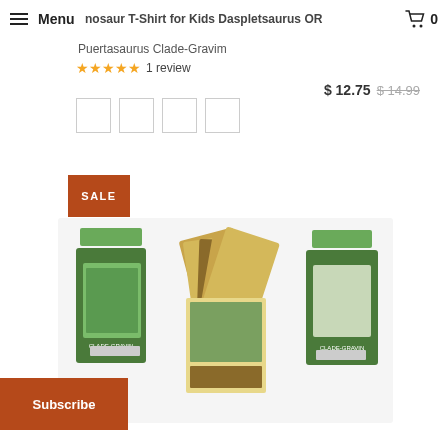Menu | Dinosaur T-Shirt for Kids Daspletsaurus OR | 0
Puertasaurus Clade-Gravim
★★★★★ 1 review
$ 12.75  $ 14.99
[Figure (other): Four color swatch boxes (empty/white)]
SALE
[Figure (photo): Product photo showing dinosaur card game packs fanned out, with three visible packages]
Subscribe